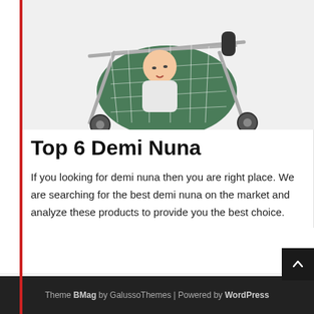[Figure (photo): Baby in a green stroller/pram covered with a white mesh net, metal frame visible, photographed from the front-side angle]
Top 6 Demi Nuna
If you looking for demi nuna then you are right place. We are searching for the best demi nuna on the market and analyze these products to provide you the best choice.
Baby Products, Strollers & Accessories   demi nuna
Theme BMag by GalussoThemes | Powered by WordPress